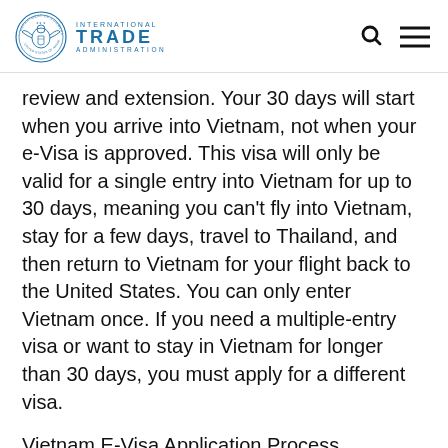International Trade Administration
review and extension. Your 30 days will start when you arrive into Vietnam, not when your e-Visa is approved. This visa will only be valid for a single entry into Vietnam for up to 30 days, meaning you can't fly into Vietnam, stay for a few days, travel to Thailand, and then return to Vietnam for your flight back to the United States. You can only enter Vietnam once. If you need a multiple-entry visa or want to stay in Vietnam for longer than 30 days, you must apply for a different visa.
Vietnam E-Visa Application Process
The Vietnamese e-visa instructions and application are available online. The correct